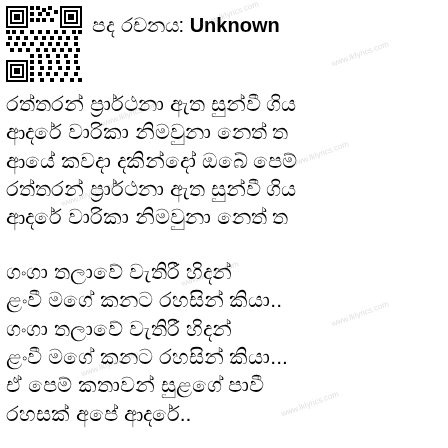[Figure (other): QR code image in top-left corner]
පද රචනය: Unknown
රත්තරන් ප්‍රාර්ථනා ඇත සුන්වී ගිය
ආදරේ වාරිකා නිමවුනා නෙත් ත
ආයේ කවදා දකින්දෝ ඔබේ පෙම
රත්තරන් ප්‍රාර්ථනා ඇත සුන්වී ගිය
ආදරේ වාරිකා නිමවුනා නෙත් ත
ගංගා තලාවේ වැතිරී හිදන්
ළංවී මගේ කනට රහසින් කියා..
ගංගා තලාවේ වැතිරී හිදන්
ළංවී මගේ කනට රහසින් කියා...
ඒ පෙම් කතාවන් සුළගේ පාවී
රහසක් අපේ ආදරේ..